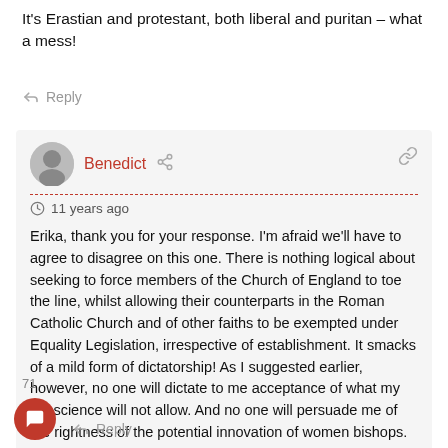It's Erastian and protestant, both liberal and puritan – what a mess!
Reply
Benedict
11 years ago
Erika, thank you for your response. I'm afraid we'll have to agree to disagree on this one. There is nothing logical about seeking to force members of the Church of England to toe the line, whilst allowing their counterparts in the Roman Catholic Church and of other faiths to be exempted under Equality Legislation, irrespective of establishment. It smacks of a mild form of dictatorship! As I suggested earlier, however, no one will dictate to me acceptance of what my conscience will not allow. And no one will persuade me of the rightness of the potential innovation of women bishops.
Reply